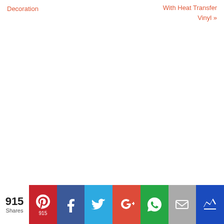Decoration
With Heat Transfer Vinyl »
[Figure (other): Social sharing bar with Pinterest (915), Facebook, Twitter, Google+, WhatsApp, Email, and Crown icons. 915 Shares count shown on left.]